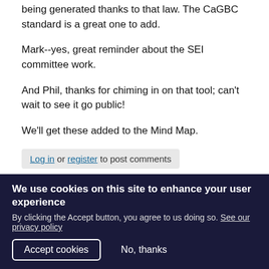being generated thanks to that law. The CaGBC standard is a great one to add.
Mark--yes, great reminder about the SEI committee work.
And Phil, thanks for chiming in on that tool; can't wait to see it go public!
We'll get these added to the Mind Map.
Log in or register to post comments
Super net zero carbon
Andy Shapiro
President for Life
We use cookies on this site to enhance your user experience
By clicking the Accept button, you agree to us doing so. See our privacy policy
Accept cookies   No, thanks